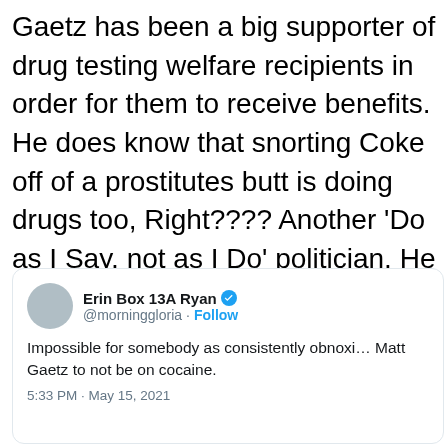Gaetz has been a big supporter of drug testing welfare recipients in order for them to receive benefits. He does know that snorting Coke off of a prostitutes butt is doing drugs too, Right???? Another ‘Do as I Say, not as I Do’ politician. He needs removed ASAP!”
[Figure (screenshot): Embedded tweet from Erin Box 13A Ryan (@morninggloria) with verified badge and Follow button. Tweet text: 'Impossible for somebody as consistently obnoxious as Matt Gaetz to not be on cocaine.' Timestamp: 5:33 PM · May 15, 2021]